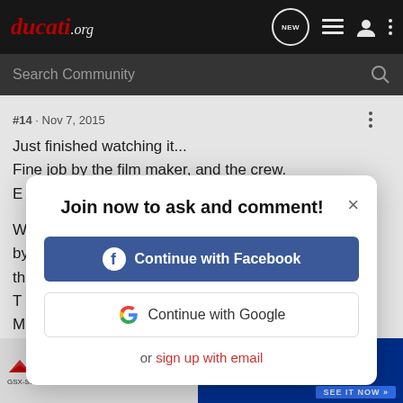ducati.org
#14 · Nov 7, 2015
Just finished watching it...
Fine job by the film maker, and the crew.
E
W
by
th
T
M
B
was almost impossible. My Uncle used to tell me stories and
catch m
Never a
and
[Figure (screenshot): Modal dialog: Join now to ask and comment! with Continue with Facebook and Continue with Google buttons, and or sign up with email link]
[Figure (infographic): Suzuki GSX-S1000GT advertisement banner at the bottom of the page]